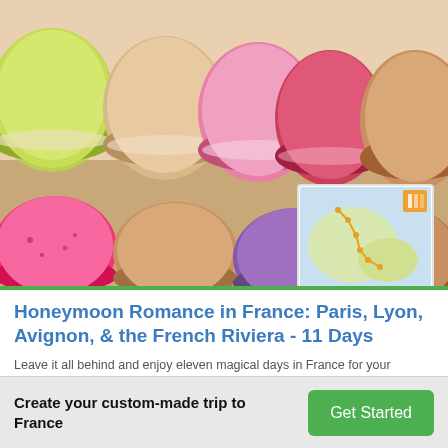[Figure (photo): Close-up photo of colorful French macarons arranged in rows — green, beige, pink, red/raspberry, purple, hot pink, and brown/caramel colors. A small map thumbnail is overlaid in the lower-right corner of the photo showing a route through France.]
Honeymoon Romance in France: Paris, Lyon, Avignon, & the French Riviera - 11 Days
Leave it all behind and enjoy eleven magical days in France for your honeymoon (or any other special occasion!) Start in Paris, where romantic dinners at streetside cafes blend perfectly with relaxed strolls through the Louvre and a night at the Eiffel Tower. Wrap up your trip in Avignon and Nice, where history, nature, and wine await you and your sweetie.
Create your custom-made trip to France
Get Started